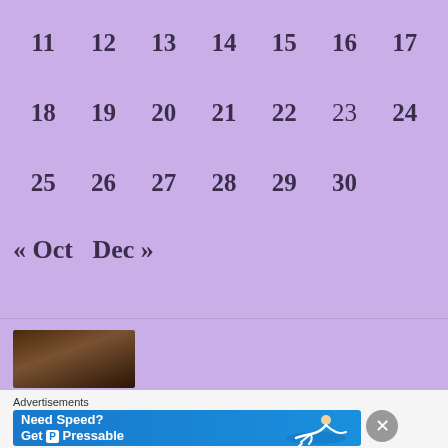| 11 | 12 | 13 | 14 | 15 | 16 | 17 |
| 18 | 19 | 20 | 21 | 22 | 23 | 24 |
| 25 | 26 | 27 | 28 | 29 | 30 |  |
« Oct  Dec »
[Figure (photo): Partial photo of a person's face/head visible at bottom left]
Advertisements
[Figure (screenshot): Blue advertisement banner: Need Speed? Get P Pressable, with figure of a person sliding]